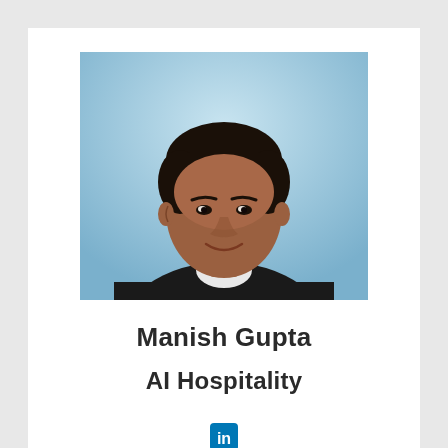[Figure (photo): Professional headshot of Manish Gupta, a man in a black sweater with white collar shirt, against a light blue background, smiling.]
Manish Gupta
AI Hospitality